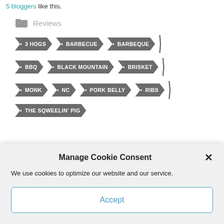5 bloggers like this.
Reviews
• 3 HOGS • BARBECUE • BARBEQUE
• BBQ • BLACK MOUNTAIN • BRISKET
• MONK • NC • PORK BELLY • RIBS
• THE SQWEELIN' PIG
Manage Cookie Consent
We use cookies to optimize our website and our service.
Accept